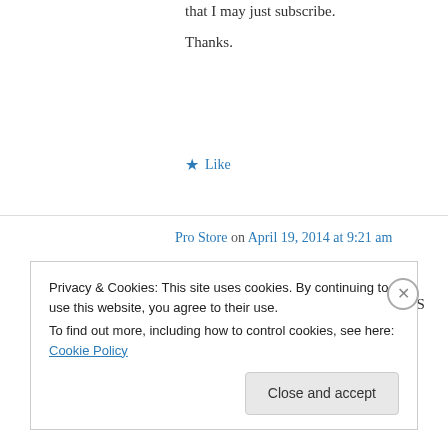that I may just subscribe.
Thanks.
★ Like
Pro Store on April 19, 2014 at 9:21 am
I almost never leave a response, but I browsed a few remarks here Cloud IaaS market share and the developer-centric world | CloudPundit: Massive-Scale Computing.
Privacy & Cookies: This site uses cookies. By continuing to use this website, you agree to their use.
To find out more, including how to control cookies, see here: Cookie Policy
Close and accept